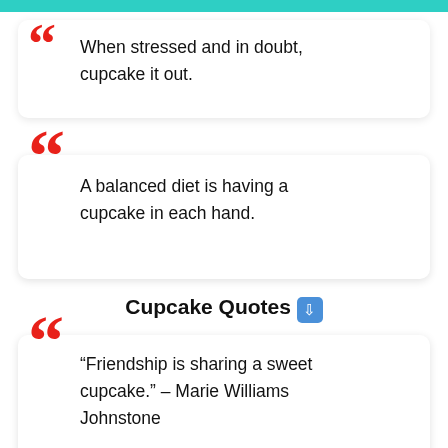When stressed and in doubt, cupcake it out.
A balanced diet is having a cupcake in each hand.
Cupcake Quotes ⬇
“Friendship is sharing a sweet cupcake.” – Marie Williams Johnstone